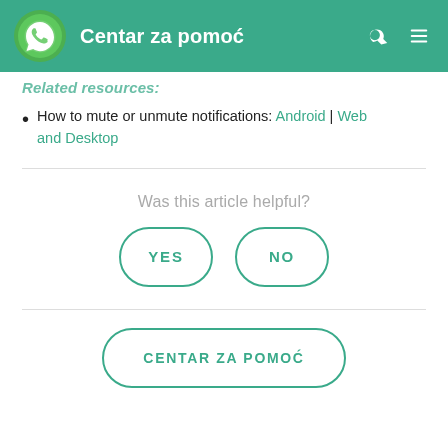Centar za pomoć
Related resources:
How to mute or unmute notifications: Android | Web and Desktop
Was this article helpful?
YES
NO
CENTAR ZA POMOĆ